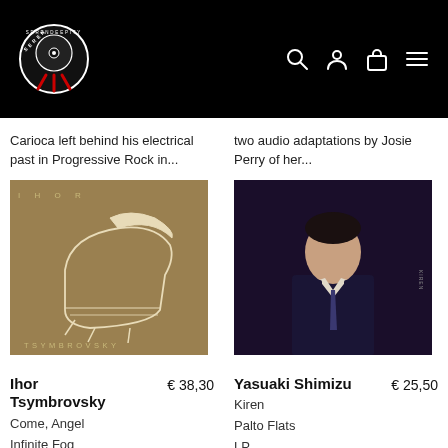[Figure (logo): Serendeepity record store logo — circular vinyl record with text around it and red ribbon/scissors below, on a black header bar with navigation icons]
Carioca left behind his electrical past in Progressive Rock in...
two audio adaptations by Josie Perry of her...
[Figure (photo): Album cover for Ihor Tsymbrovsky 'Come, Angel' — golden/khaki brown background with a white line-drawing of a piano and the text IHOR and TSYMBROVSKY]
[Figure (photo): Album cover for Yasuaki Shimizu 'Kiren' — dark purple/black background with a photograph of a man in a dark suit and tie]
Ihor Tsymbrovsky  € 38,30
Come, Angel
Infinite Fog
2xLP
ELECTRONIC
Yasuaki Shimizu  € 25,50
Kiren
Palto Flats
LP
ELECTRONIC